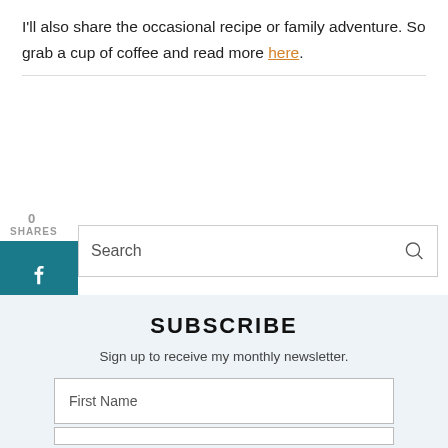I'll also share the occasional recipe or family adventure. So grab a cup of coffee and read more here.
0
SHARES
Search
SUBSCRIBE
Sign up to receive my monthly newsletter.
First Name